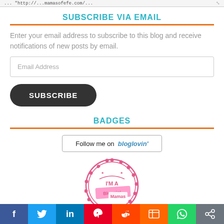... "http://...mamasofefe.com/...
SUBSCRIBE VIA EMAIL
Enter your email address to subscribe to this blog and receive notifications of new posts by email.
Email Address
SUBSCRIBE
BADGES
[Figure (logo): Follow me on bloglovin' badge button with border]
[Figure (logo): I'm a Bloggin' Mamas circular pink badge with scalloped border]
f  Twitter  in  Pinterest  Reddit  Mix  WhatsApp  Share